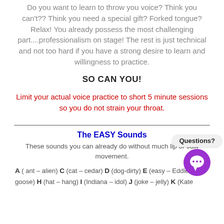Do you want to learn to throw you voice? Think you can't?? Think you need a special gift? Forked tongue? Relax! You already possess the most challenging part....professionalism on stage! The rest is just technical and not too hard if you have a strong desire to learn and willingness to practice.
SO CAN YOU!
Limit your actual voice practice to short 5 minute sessions so you do not strain your throat.
The EASY Sounds
These sounds you can already do without much lip or Jaw movement.
A ( ant – alien) C (cat – cedar) D (dog-dirty) E (easy – Eddie, goose) H (hat – hang) I (Indiana – idol) J (joke – jelly) K (Kate